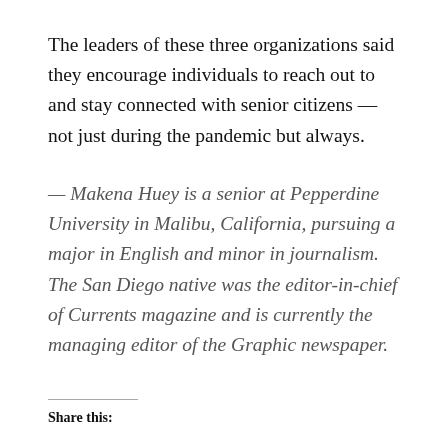The leaders of these three organizations said they encourage individuals to reach out to and stay connected with senior citizens — not just during the pandemic but always.
— Makena Huey is a senior at Pepperdine University in Malibu, California, pursuing a major in English and minor in journalism. The San Diego native was the editor-in-chief of Currents magazine and is currently the managing editor of the Graphic newspaper.
Share this: